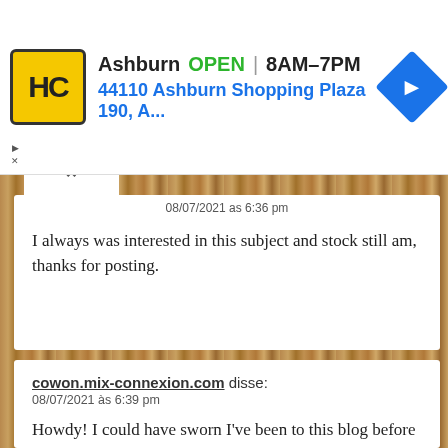[Figure (screenshot): HC Handyman advertisement banner showing logo, Ashburn location, OPEN status, hours 8AM-7PM, address 44110 Ashburn Shopping Plaza 190 A..., and navigation icon]
08/07/2021 as 6:36 pm
I always was interested in this subject and stock still am, thanks for posting.
cowon.mix-connexion.com disse: 08/07/2021 às 6:39 pm
Howdy! I could have sworn I've been to this blog before but after browsing through some of the post I realized it's new